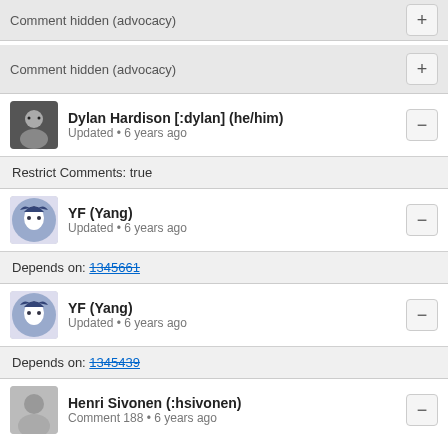Comment hidden (advocacy)
Comment hidden (advocacy)
Dylan Hardison [:dylan] (he/him) Updated • 6 years ago
Restrict Comments: true
YF (Yang) Updated • 6 years ago
Depends on: 1345661
YF (Yang) Updated • 6 years ago
Depends on: 1345439
Henri Sivonen (:hsivonen) Comment 188 • 6 years ago